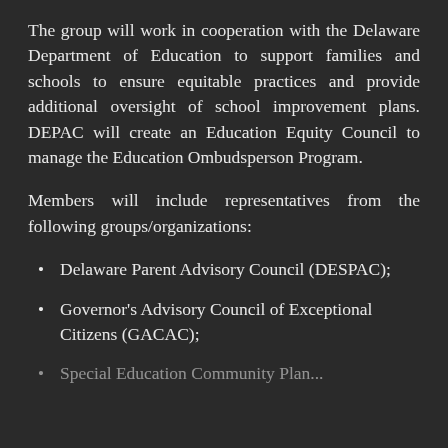The group will work in cooperation with the Delaware Department of Education to support families and schools to ensure equitable practices and provide additional oversight of school improvement plans. DEPAC will create an Education Equity Council to manage the Education Ombudsperson Program.
Members will include representatives from the following groups/organizations:
Delaware Parent Advisory Council (DESPAC);
Governor's Advisory Council of Exceptional Citizens (GACAC);
Special Education Community Plan...